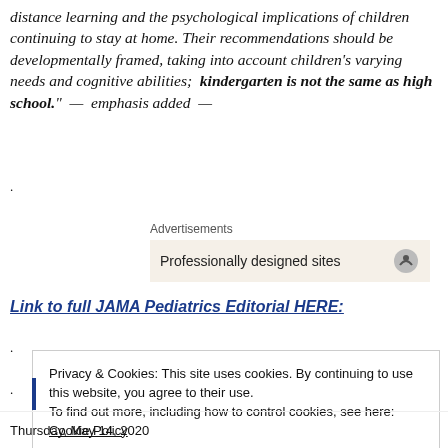distance learning and the psychological implications of children continuing to stay at home. Their recommendations should be developmentally framed, taking into account children's varying needs and cognitive abilities; kindergarten is not the same as high school." — emphasis added —
Advertisements
Professionally designed sites
Link to full JAMA Pediatrics Editorial HERE:
Privacy & Cookies: This site uses cookies. By continuing to use this website, you agree to their use. To find out more, including how to control cookies, see here: Cookie Policy
Close and accept
Thursday, May 14, 2020